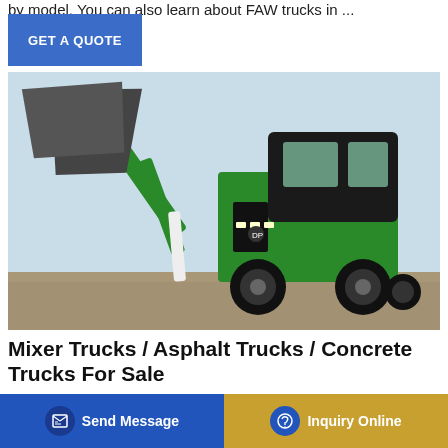by model. You can also learn about FAW trucks in ...
[Figure (other): Blue GET A QUOTE button]
[Figure (photo): A green and black concrete/cement mixer truck with a large loading bucket raised, photographed outdoors at a construction site with gravel ground and blue sky background.]
Mixer Trucks / Asphalt Trucks / Concrete Trucks For Sale
Sep 24, 2021 · Browse our inventory of new and used Mixer concrete manufacturers inside W...
[Figure (other): Bottom bar with two buttons: 'Send Message' (blue with document icon) and 'Inquiry Online' (gold/amber with headset icon)]